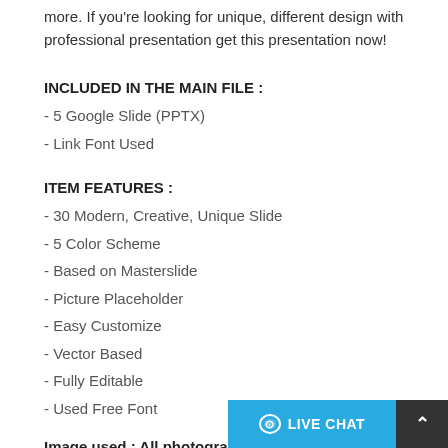more. If you're looking for unique, different design with professional presentation get this presentation now!
INCLUDED IN THE MAIN FILE :
- 5 Google Slide (PPTX)
- Link Font Used
ITEM FEATURES :
- 30 Modern, Creative, Unique Slide
- 5 Color Scheme
- Based on Masterslide
- Picture Placeholder
- Easy Customize
- Vector Based
- Fully Editable
- Used Free Font
Image used : All photographs or pi